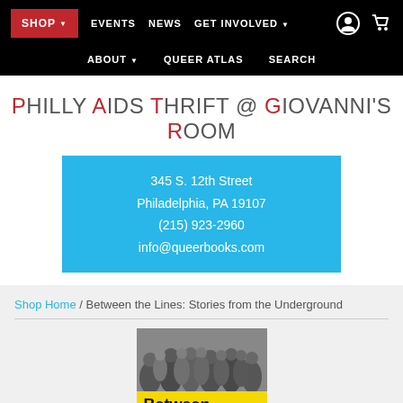SHOP ▾  EVENTS  NEWS  GET INVOLVED ▾  ABOUT ▾  QUEER ATLAS  SEARCH
PHILLY AIDS THRIFT @ GIOVANNI'S ROOM
345 S. 12th Street
Philadelphia, PA 19107
(215) 923-2960
info@queerbooks.com
Shop Home / Between the Lines: Stories from the Underground
[Figure (photo): Book cover of 'Between the Lines: Stories from the Underground' with yellow background and black-and-white crowd photo at top]